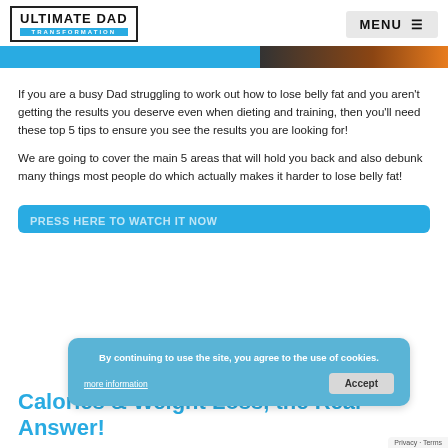ULTIMATE DAD TRANSFORMATION
If you are a busy Dad struggling to work out how to lose belly fat and you aren't getting the results you deserve even when dieting and training, then you'll need these top 5 tips to ensure you see the results you are looking for!
We are going to cover the main 5 areas that will hold you back and also debunk many things most people do which actually makes it harder to lose belly fat!
PRESS HERE TO WATCH IT NOW
By continuing to use the site, you agree to the use of cookies.
more information
Accept
Calories & Weight Loss, the Real Answer!